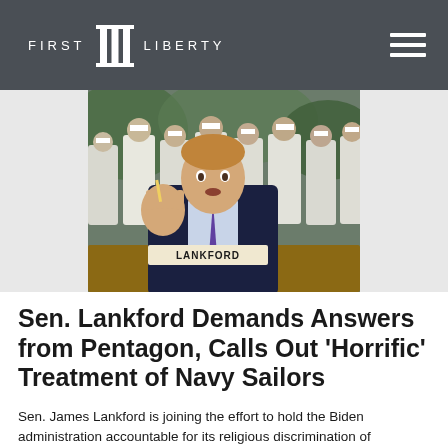FIRST LIBERTY
[Figure (photo): Senator Lankford in the foreground raising his hand with a nameplate reading LANKFORD, with Navy sailors in white uniforms marching in the background.]
Sen. Lankford Demands Answers from Pentagon, Calls Out ‘Horrific’ Treatment of Navy Sailors
Sen. James Lankford is joining the effort to hold the Biden administration accountable for its religious discrimination of